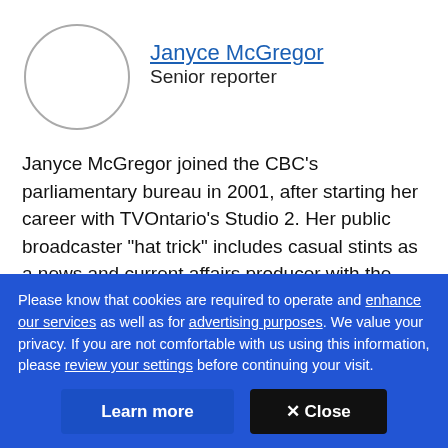[Figure (illustration): Circular avatar/profile photo placeholder with gray border outline]
Janyce McGregor
Senior reporter
Janyce McGregor joined the CBC's parliamentary bureau in 2001, after starting her career with TVOntario's Studio 2. Her public broadcaster "hat trick" includes casual stints as a news and current affairs producer with the BBC's World Service in London. After two decades of producing roles, she's now a senior
Please know that cookies are required to operate and enhance our services as well as for advertising purposes. We value your privacy. If you are not comfortable with us using this information, please review your settings before continuing your visit.